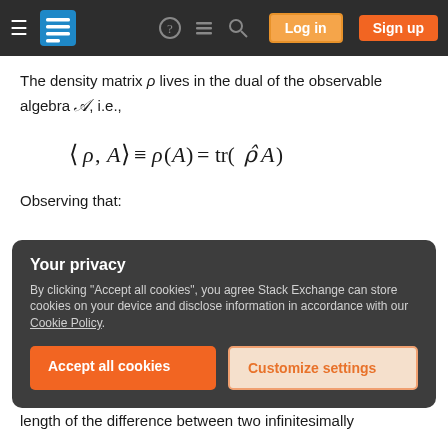Stack Exchange navigation bar with hamburger menu, logo, icons, Log in and Sign up buttons
The density matrix ρ lives in the dual of the observable algebra 𝒜, i.e.,
Observing that:
Thus Y_A can be represented on the cotangent space of the density matrix ρ̂ by the operator
Your privacy
By clicking "Accept all cookies", you agree Stack Exchange can store cookies on your device and disclose information in accordance with our Cookie Policy.
Accept all cookies   Customize settings
length of the difference between two infinitesimally